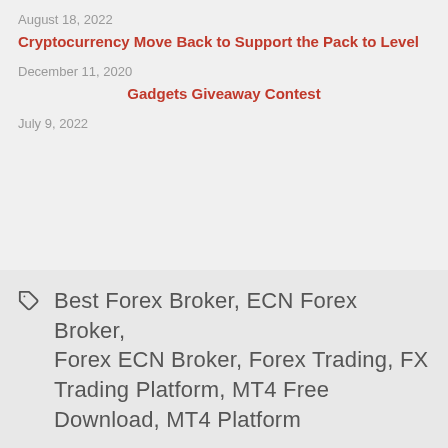August 18, 2022
Cryptocurrency Move Back to Support the Pack to Level
December 11, 2020
Gadgets Giveaway Contest
July 9, 2022
Best Forex Broker, ECN Forex Broker, Forex ECN Broker, Forex Trading, FX Trading Platform, MT4 Free Download, MT4 Platform
About
Products
Company Profile
Forex